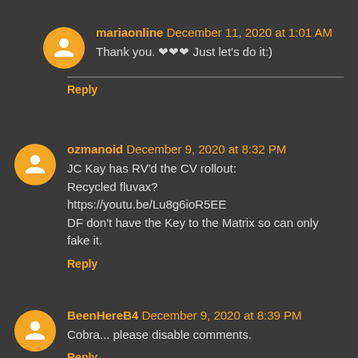mariaonline December 11, 2020 at 1:01 AM
Thank you. ❤❤❤ Just let's do it:)
Reply
ozmanoid December 9, 2020 at 8:32 PM
JC Kay has RV'd the CV rollout:
Recycled fluvax?
https://youtu.be/Lu8g6ioR5EE
DF don't have the Key to the Matrix so can only fake it.
Reply
BeenHereB4 December 9, 2020 at 8:39 PM
Cobra... please disable comments.
Reply